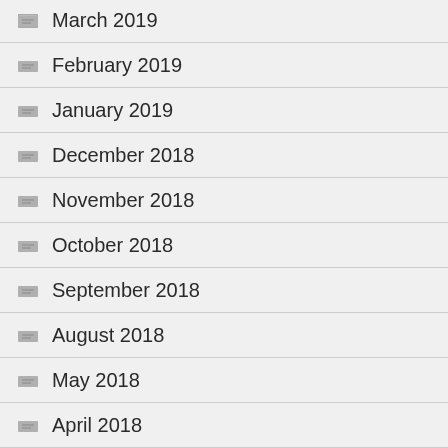March 2019
February 2019
January 2019
December 2018
November 2018
October 2018
September 2018
August 2018
May 2018
April 2018